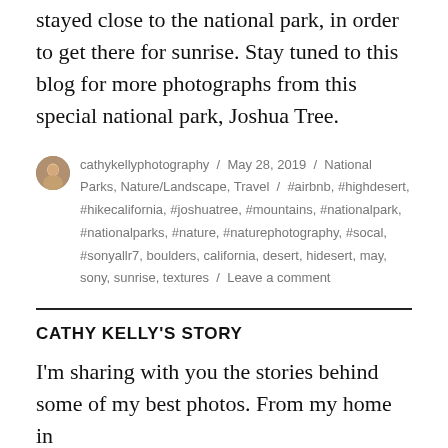stayed close to the national park, in order to get there for sunrise. Stay tuned to this blog for more photographs from this special national park, Joshua Tree.
cathykellyphotography / May 28, 2019 / National Parks, Nature/Landscape, Travel / #airbnb, #highdesert, #hikecalifornia, #joshuatree, #mountains, #nationalpark, #nationalparks, #nature, #naturephotography, #socal, #sonyallr7, boulders, california, desert, hidesert, may, sony, sunrise, textures / Leave a comment
CATHY KELLY'S STORY
I'm sharing with you the stories behind some of my best photos. From my home in